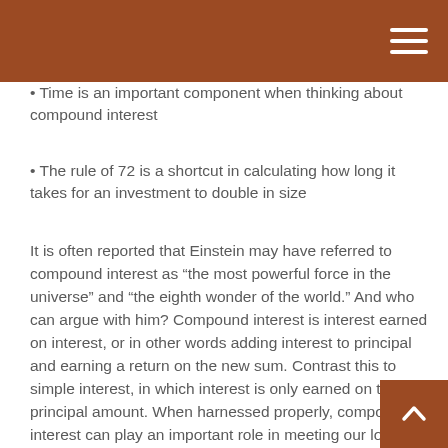• Time is an important component when thinking about compound interest
• The rule of 72 is a shortcut in calculating how long it takes for an investment to double in size
It is often reported that Einstein may have referred to compound interest as “the most powerful force in the universe” and “the eighth wonder of the world.” And who can argue with him? Compound interest is interest earned on interest, or in other words adding interest to principal and earning a return on the new sum. Contrast this to simple interest, in which interest is only earned on the principal amount. When harnessed properly, compound interest can play an important role in meeting our long-term goals and can provide exponential growth on an investment.